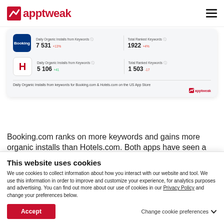[Figure (logo): AppTweak logo with red checkmark icon and red text 'apptweak']
[Figure (screenshot): AppTweak dashboard card showing Daily Organic Installs from Keywords and Total Ranked Keywords for Booking.com (7531) and Hotels.com (5106) on the US App Store]
Daily Organic Installs from keywords for Booking.com & Hotels.com on the US App Store
Booking.com ranks on more keywords and gains more organic installs than Hotels.com. Both apps have seen a
This website uses cookies
We use cookies to collect information about how you interact with our website and tool. We use this information in order to improve and customize your experience, for analytics purposes and advertising. You can find out more about our use of cookies in our Privacy Policy and change your preferences below.
Accept
Change cookie preferences